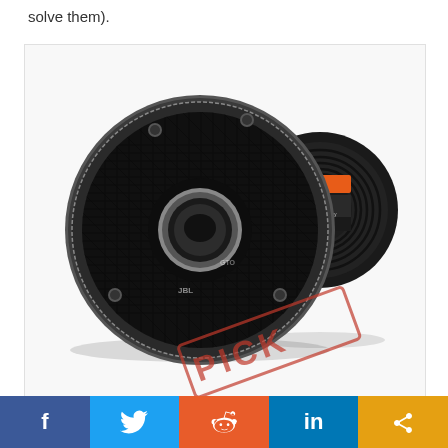solve them).
[Figure (photo): JBL GTO 629 car speakers — front view of round black speaker with mesh grille and center tweeter, and back view showing black ribbed magnet with orange/black JBL label. A red 'PICK' stamp watermark is visible at bottom right of the image.]
f  [Facebook]  |  [Twitter bird]  |  [Reddit alien]  |  in [LinkedIn]  |  < [Share]